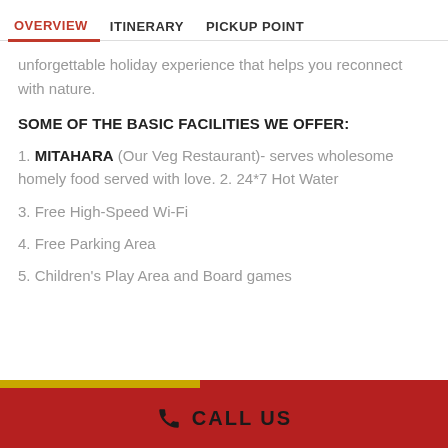OVERVIEW   ITINERARY   PICKUP POINT
unforgettable holiday experience that helps you reconnect with nature.
SOME OF THE BASIC FACILITIES WE OFFER:
1. MITAHARA (Our Veg Restaurant)- serves wholesome homely food served with love. 2. 24*7 Hot Water
3. Free High-Speed Wi-Fi
4. Free Parking Area
5. Children's Play Area and Board games
CALL US